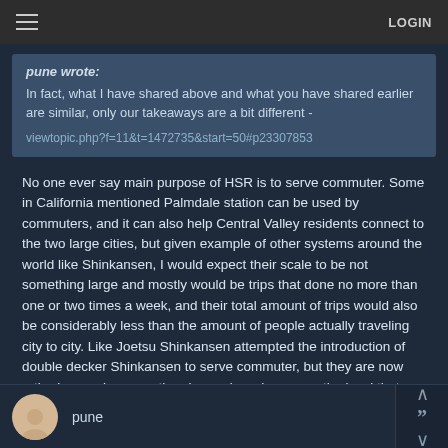LOGIN
pune wrote:
In fact, what I have shared above and what you have shared earlier are similar, only our takeaways are a bit different -

viewtopic.php?f=11&t=1472735&start=50#p23307853
No one ever say main purpose of HSR is to serve commuter. Some in California mentioned Palmdale station can be used by commuters, and it can also help Central Valley residents connect to the two large cities, but given example of other systems around the world like Shinkansen, I would expect their scale to be not something large and mostly would be trips that done no more than one or two times a week, and their total amount of trips would also be considerably less than the amount of people actually traveling city to city. Like Joetsu Shinkansen attempted the introduction of double decker Shinkansen to serve commuter, but they are now retired as such commuting demand nowhere near the level that would justify the introduction of such specific equipment.
pune